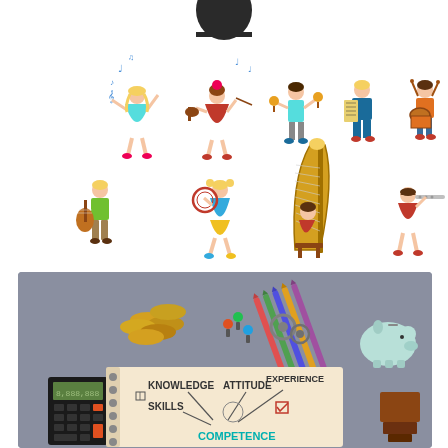[Figure (illustration): Colorful cartoon illustration of children playing various musical instruments: a girl singing with music notes, a girl playing violin, a boy playing maracas, a boy playing accordion, a boy playing drums (top row); a boy playing guitar, a girl playing tambourine, a girl playing harp, a girl playing flute (bottom row).]
[Figure (photo): Photo of a desk with coins, pins, gears, colored pencils, a calculator, a piggy bank, a stamp, and a spiral notebook with 'KNOWLEDGE, ATTITUDE, EXPERIENCE, SKILLS, COMPETENCE' diagram written on it.]